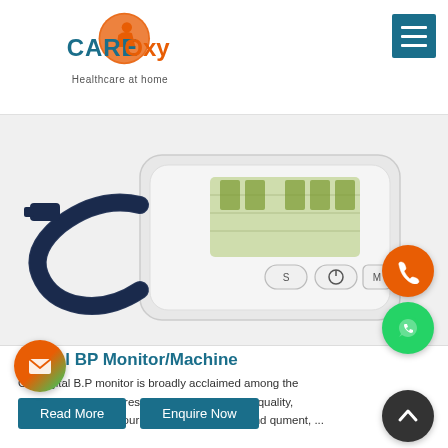[Figure (logo): CareOxy logo with orange circle person icon and teal CARE text, orange Oxy text. Tagline: Healthcare at home]
[Figure (photo): Digital blood pressure monitor machine with cuff and display showing readings, white device with buttons S, power, M]
Digital BP Monitor/Machine
Our digital B.P monitor is broadly acclaimed among the clientele for their impressive designs, supreme quality, and ity. Besides this, our capacity to maintain and qu ment, ...